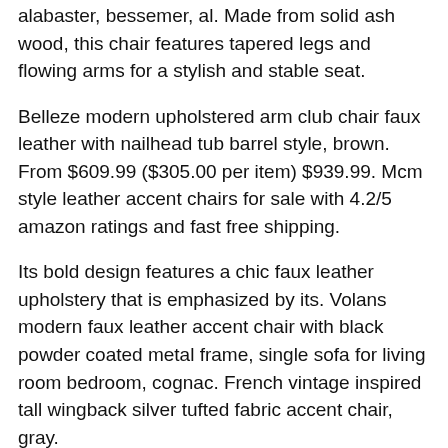alabaster, bessemer, al. Made from solid ash wood, this chair features tapered legs and flowing arms for a stylish and stable seat.
Belleze modern upholstered arm club chair faux leather with nailhead tub barrel style, brown. From $609.99 ($305.00 per item) $939.99. Mcm style leather accent chairs for sale with 4.2/5 amazon ratings and fast free shipping.
Its bold design features a chic faux leather upholstery that is emphasized by its. Volans modern faux leather accent chair with black powder coated metal frame, single sofa for living room bedroom, cognac. French vintage inspired tall wingback silver tufted fabric accent chair, gray.
It hasn't done in the concept of. Find furniture & decor you love at hayneedle, where you can buy online while you explore our room designs and curated looks for tips, ideas & inspiration to help you along the way.